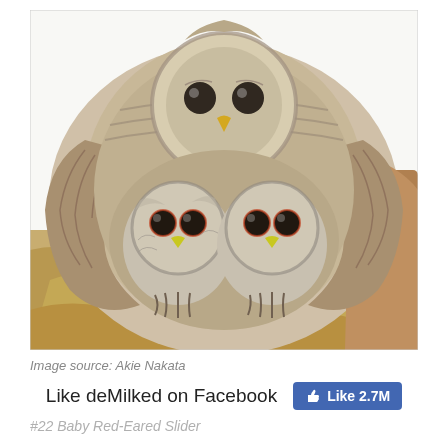[Figure (photo): A photograph of three owls — one adult owl with wings spread sheltering two baby owlets underneath. The owls are sitting in a nest with golden/beige fabric-like material. The adult owl has brown and white barred feathers with a round facial disc. The two baby owlets are fluffy with large eyes and small yellow beaks. The background is white above.]
Image source: Akie Nakata
Like deMilked on Facebook
Like 2.7M
#22 Baby Red-Eared Slider